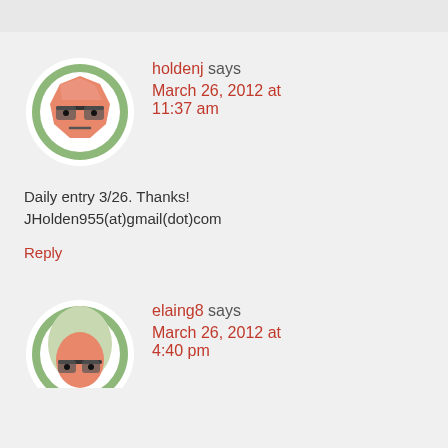[Figure (illustration): Cartoon avatar of holdenj: a hexagon-shaped peach/salmon face with glasses and a neutral expression, on a green circle background]
holdenj says
March 26, 2012 at 11:37 am
Daily entry 3/26. Thanks! JHolden955(at)gmail(dot)com
Reply
[Figure (illustration): Cartoon avatar of elaing8: a face with long light-colored hair and glasses, on a green circle background]
elaing8 says
March 26, 2012 at 4:40 pm